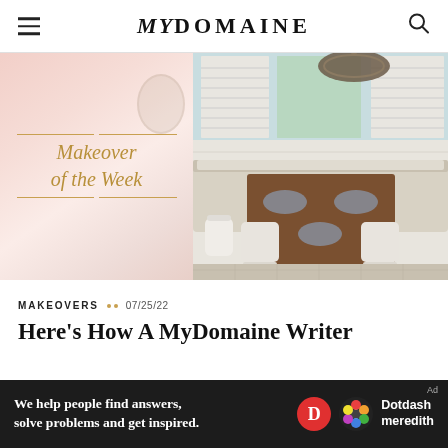MYDOMAINE
[Figure (photo): MyDomaine 'Makeover of the Week' hero image: left half shows a soft pink watercolor-style background with gold italic text 'Makeover of the Week' flanked by thin gold lines; right half shows a bright dining nook with white shiplap walls, plantation shutters, an ornate iron chandelier, a dark wood table surrounded by white curved chairs with blue placemats, and a white trash bin.]
MAKEOVERS •• 07/25/22
Here's How A MyDomaine Writer
[Figure (infographic): Dark advertisement banner: 'We help people find answers, solve problems and get inspired.' with Dotdash Meredith logo (red D circle and colorful flower icon).]